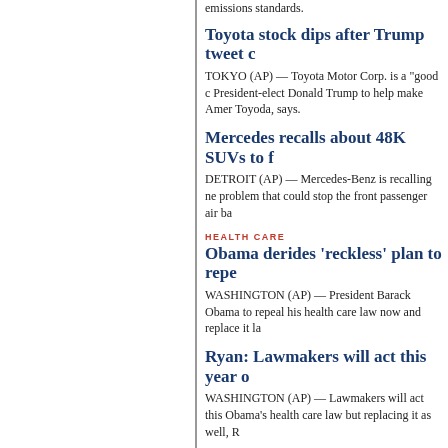emissions standards.
Toyota stock dips after Trump tweet c
TOKYO (AP) — Toyota Motor Corp. is a "good c President-elect Donald Trump to help make Amer Toyoda, says.
Mercedes recalls about 48K SUVs to f
DETROIT (AP) — Mercedes-Benz is recalling ne problem that could stop the front passenger air ba
HEALTH CARE
Obama derides 'reckless' plan to repe
WASHINGTON (AP) — President Barack Obama to repeal his health care law now and replace it la
Ryan: Lawmakers will act this year o
WASHINGTON (AP) — Lawmakers will act this year on not only repealing Obama's health care law but replacing it as well, R
NATIONAL/INTERNATIONAL BUSINESS
Higher wages push stocks to records,
NEW YORK (AP) — So close! The Dow Jones in fraction of a point Friday as U.S. stock indexes ro December. Two other major indexes set records.